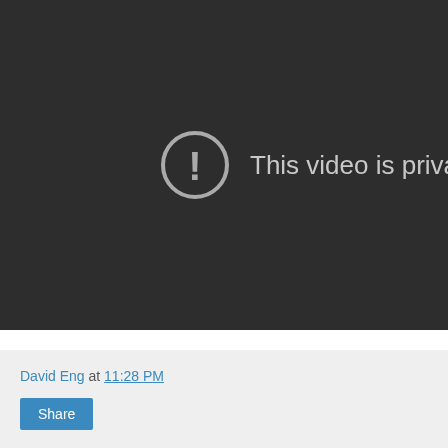[Figure (screenshot): A dark video player area showing a private video error message. A circular icon with an exclamation mark is displayed alongside the text 'This video is priva' (truncated).]
David Eng at 11:28 PM
Share